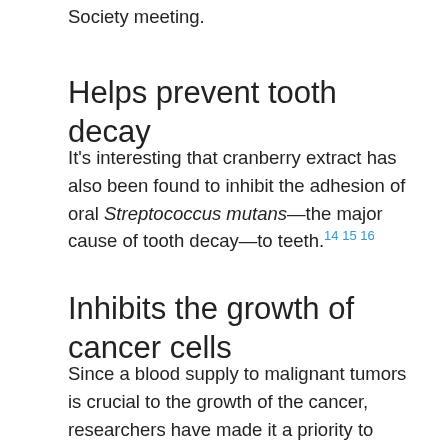September 2005 at an American Chemical Society meeting.
Helps prevent tooth decay
It's interesting that cranberry extract has also been found to inhibit the adhesion of oral Streptococcus mutans—the major cause of tooth decay—to teeth.141516
Inhibits the growth of cancer cells
Since a blood supply to malignant tumors is crucial to the growth of the cancer, researchers have made it a priority to discover anti-angiogenic therapies (ways to stop the blood supply to the tumor) in the battle to prevent and treat cancer. The recent studies showing that